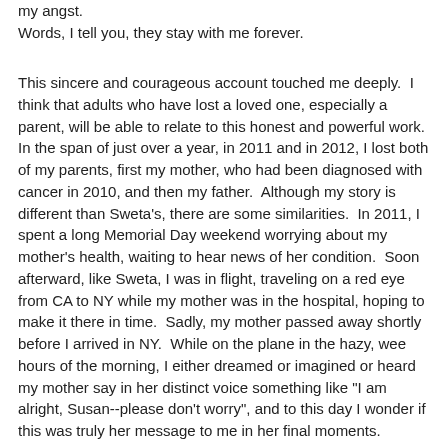my angst.
Words, I tell you, they stay with me forever.
This sincere and courageous account touched me deeply.  I think that adults who have lost a loved one, especially a parent, will be able to relate to this honest and powerful work.  In the span of just over a year, in 2011 and in 2012, I lost both of my parents, first my mother, who had been diagnosed with cancer in 2010, and then my father.  Although my story is different than Sweta's, there are some similarities.  In 2011, I spent a long Memorial Day weekend worrying about my mother's health, waiting to hear news of her condition.  Soon afterward, like Sweta, I was in flight, traveling on a red eye from CA to NY while my mother was in the hospital, hoping to make it there in time.  Sadly, my mother passed away shortly before I arrived in NY.  While on the plane in the hazy, wee hours of the morning, I either dreamed or imagined or heard my mother say in her distinct voice something like "I am alright, Susan--please don't worry", and to this day I wonder if this was truly her message to me in her final moments.